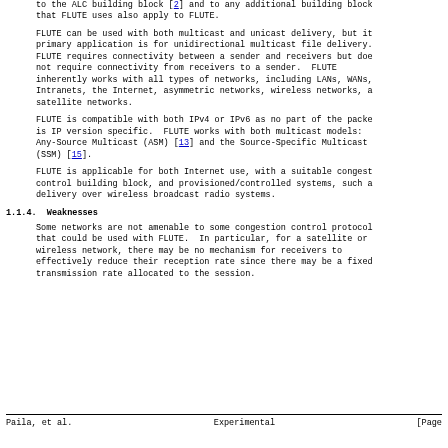to the ALC building block [2] and to any additional building block that FLUTE uses also apply to FLUTE.
FLUTE can be used with both multicast and unicast delivery, but its primary application is for unidirectional multicast file delivery. FLUTE requires connectivity between a sender and receivers but does not require connectivity from receivers to a sender. FLUTE inherently works with all types of networks, including LANs, WANs, Intranets, the Internet, asymmetric networks, wireless networks, and satellite networks.
FLUTE is compatible with both IPv4 or IPv6 as no part of the packet is IP version specific. FLUTE works with both multicast models: Any-Source Multicast (ASM) [13] and the Source-Specific Multicast (SSM) [15].
FLUTE is applicable for both Internet use, with a suitable congestion control building block, and provisioned/controlled systems, such as delivery over wireless broadcast radio systems.
1.1.4. Weaknesses
Some networks are not amenable to some congestion control protocols that could be used with FLUTE. In particular, for a satellite or wireless network, there may be no mechanism for receivers to effectively reduce their reception rate since there may be a fixed transmission rate allocated to the session.
Paila, et al.                    Experimental                    [Page